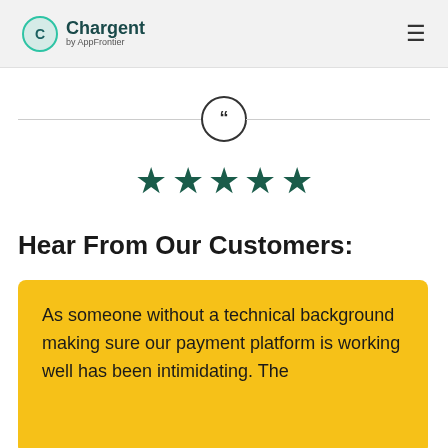Chargent by AppFrontier
[Figure (other): Horizontal divider line with a circular quotation mark icon in the center]
[Figure (other): Five teal/dark green filled star rating icons]
Hear From Our Customers:
As someone without a technical background making sure our payment platform is working well has been intimidating. The